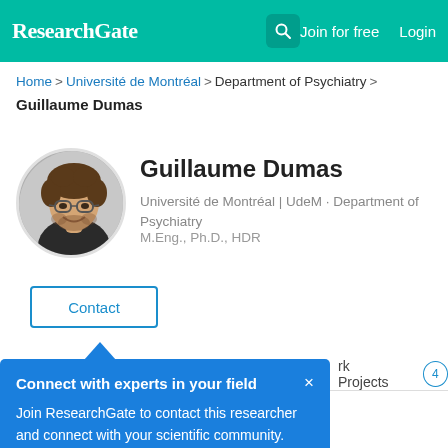ResearchGate | Join for free  Login
Home > Université de Montréal > Department of Psychiatry > Guillaume Dumas
Guillaume Dumas
Université de Montréal | UdeM · Department of Psychiatry
M.Eng., Ph.D., HDR
[Figure (photo): Portrait photo of Guillaume Dumas, a young man with curly hair and glasses, smiling]
Contact
Connect with experts in your field ×
Join ResearchGate to contact this researcher and connect with your scientific community.
rk   Projects 4